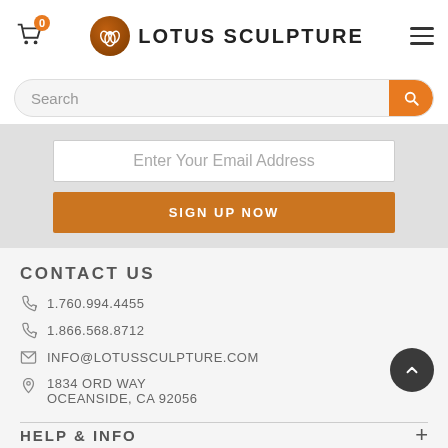Lotus Sculpture — header with cart (0), logo, search bar, hamburger menu
Enter Your Email Address
SIGN UP NOW
CONTACT US
1.760.994.4455
1.866.568.8712
INFO@LOTUSSCULPTURE.COM
1834 ORD WAY
OCEANSIDE, CA 92056
HELP & INFO